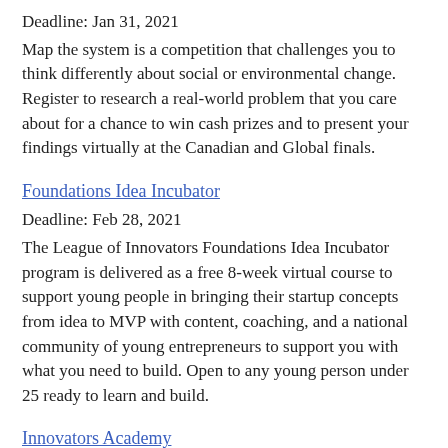Deadline: Jan 31, 2021
Map the system is a competition that challenges you to think differently about social or environmental change. Register to research a real-world problem that you care about for a chance to win cash prizes and to present your findings virtually at the Canadian and Global finals.
Foundations Idea Incubator
Deadline: Feb 28, 2021
The League of Innovators Foundations Idea Incubator program is delivered as a free 8-week virtual course to support young people in bringing their startup concepts from idea to MVP with content, coaching, and a national community of young entrepreneurs to support you with what you need to build. Open to any young person under 25 ready to learn and build.
Innovators Academy